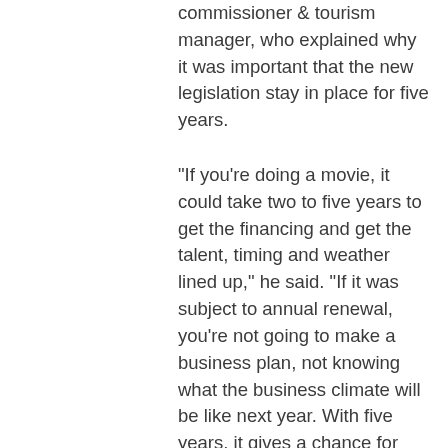commissioner & tourism manager, who explained why it was important that the new legislation stay in place for five years.
“If you’re doing a movie, it could take two to five years to get the financing and get the talent, timing and weather lined up,” he said. “If it was subject to annual renewal, you’re not going to make a business plan, not knowing what the business climate will be like next year. With five years, it gives a chance for Disney to plan a ‘tentpole,’ a $100+ million film, and know that something will be there.”
Coyne said that North Carolina recently ended a similar tax break. “When North Carolina started theirs, one of the first films they attracted was ‘Forrest Gump,” he said. “They built an entire industry. They were getting TV series. When you get TV series, that’s when you build a studio. That’s when people move to whatever location with their families. When you do a